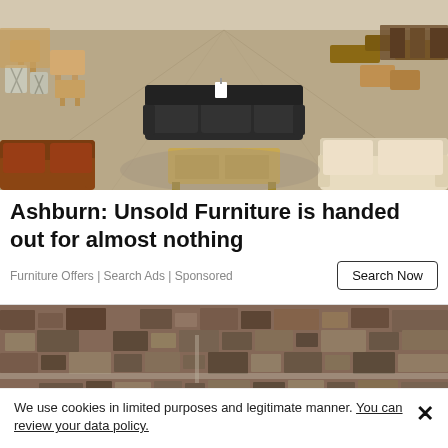[Figure (photo): Interior of a furniture showroom with various sofas, chairs, and wooden tables on display. A dark leather recliner sofa is visible in the center background, a brown leather loveseat on the left, and light-colored sofas on the right, with wooden dining sets lining both sides.]
Ashburn: Unsold Furniture is handed out for almost nothing
Furniture Offers | Search Ads | Sponsored
[Figure (photo): Aerial view of a densely packed urban residential neighborhood showing rooftops and streets from above, with muted earth tones.]
We use cookies in limited purposes and legitimate manner. You can review your data policy.